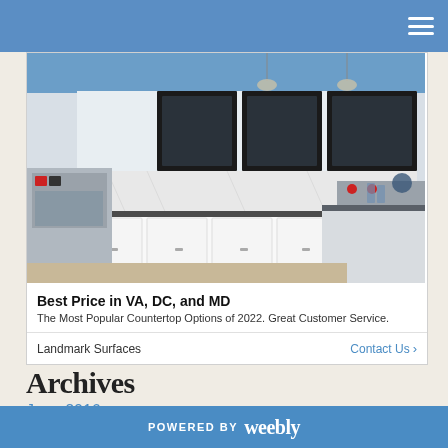Navigation bar with hamburger menu
[Figure (photo): Kitchen interior photo showing white cabinets with black upper glass-front cabinets, stainless steel appliances, marble backsplash, and dark granite island countertop with glassware and cookware]
Best Price in VA, DC, and MD
The Most Popular Countertop Options of 2022. Great Customer Service.
Landmark Surfaces
Contact Us >
Archives
June 2016
May 2016
April 2016
POWERED BY weebly